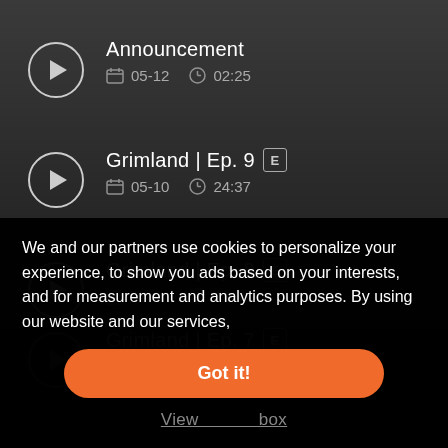Announcement  05-12  02:25
Grimland | Ep. 9 [E]  05-10  24:37
Grimland | Ep. 8 [E]  05-10  23:50
Grimland | Ep. 7 [E]  05-10  22:55
We and our partners use cookies to personalize your experience, to show you ads based on your interests, and for measurement and analytics purposes. By using our website and our services,
Got it!
View inbox